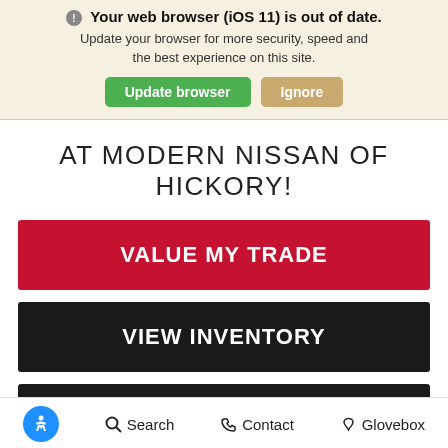Your web browser (iOS 11) is out of date. Update your browser for more security, speed and the best experience on this site. [Update browser] [Ignore]
AT MODERN NISSAN OF HICKORY!
VALUE MY TRADE
VIEW INVENTORY
HOURS & DIRECTIONS
Search  Contact  Glovebox